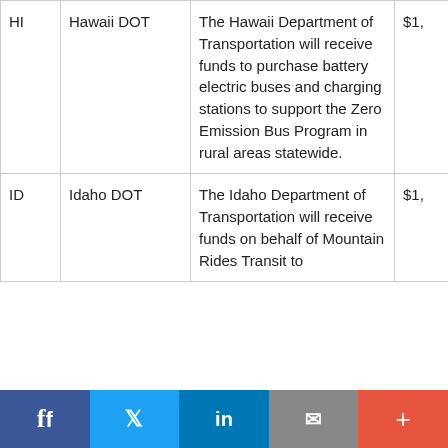| State | Agency | Description | Amount |
| --- | --- | --- | --- |
| HI | Hawaii DOT | The Hawaii Department of Transportation will receive funds to purchase battery electric buses and charging stations to support the Zero Emission Bus Program in rural areas statewide. | $1, |
| ID | Idaho DOT | The Idaho Department of Transportation will receive funds on behalf of Mountain Rides Transit to | $1, |